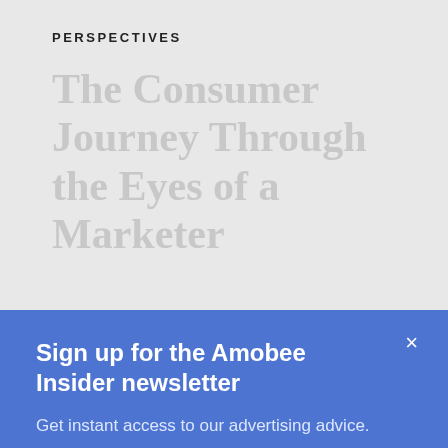PERSPECTIVES
The Consumer Journey Through the Eyes of a Marketer
Navigating today's complex consumer landscape is all about leveraging data
Sign up for the Amobee Insider newsletter
Get instant access to our advertising advice.
Try it